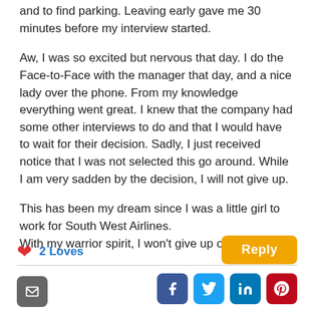and to find parking. Leaving early gave me 30 minutes before my interview started.
Aw, I was so excited but nervous that day. I do the Face-to-Face with the manager that day, and a nice lady over the phone. From my knowledge everything went great. I knew that the company had some other interviews to do and that I would have to wait for their decision. Sadly, I just received notice that I was not selected this go around. While I am very sadden by the decision, I will not give up.
This has been my dream since I was a little girl to work for South West Airlines.
With my warrior spirit, I won't give up on that dream.
2 Loves
Reply